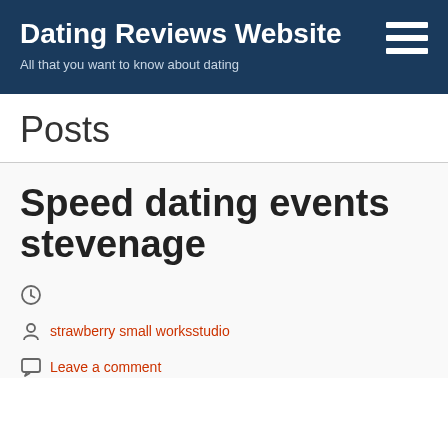Dating Reviews Website
All that you want to know about dating
Posts
Speed dating events stevenage
strawberry small worksstudio
Leave a comment